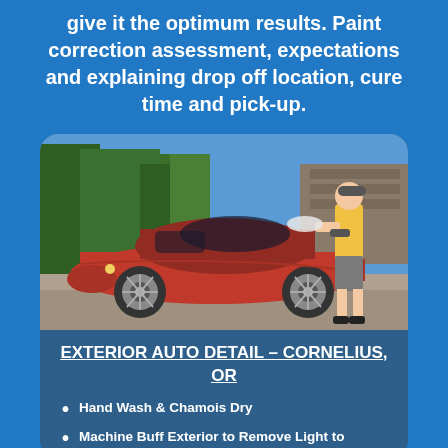give it the optimum results. Paint correction assessment, expectations and explaining drop off location, cure time and pick-up.
[Figure (photo): A person in a yellow shirt and shorts polishing or detailing a red Ferrari sports car parked in a driveway with trees in the background.]
EXTERIOR AUTO DETAIL – CORNELIUS, OR
Hand Wash & Chamois Dry
Machine Buff Exterior to Remove Light to